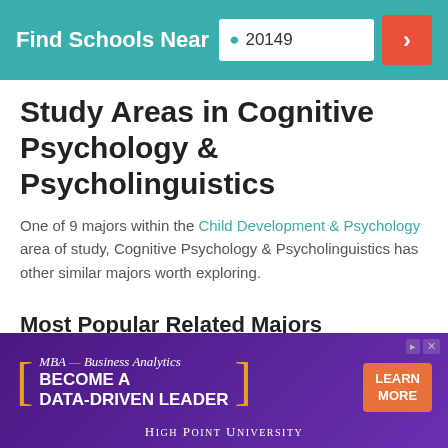Find Schools Near 20149
Study Areas in Cognitive Psychology & Psycholinguistics
One of 9 majors within the Child Development & Psychology area of study, Cognitive Psychology & Psycholinguistics has other similar majors worth exploring.
Most Popular Related Majors
| Related Major | Annual Graduates |
| --- | --- |
[Figure (other): Advertisement banner for MBA – Business Analytics at High Point University with tagline BECOME A DATA-DRIVEN LEADER and LEARN MORE button]